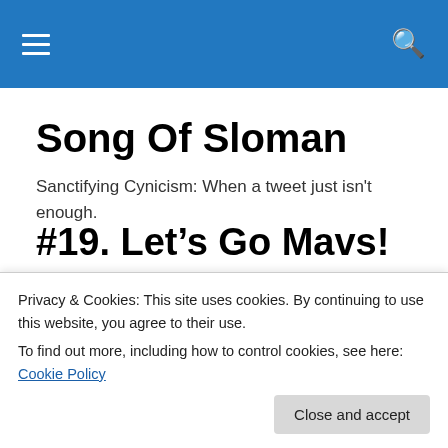Song Of Sloman
Song Of Sloman
Sanctifying Cynicism: When a tweet just isn't enough.
#19. Let’s Go Mavs!
[Figure (photo): Partial view of Dallas Mavericks and another sports team logos/emblems]
Privacy & Cookies: This site uses cookies. By continuing to use this website, you agree to their use.
To find out more, including how to control cookies, see here: Cookie Policy
Close and accept